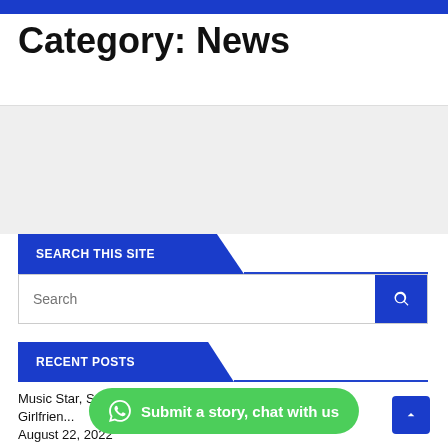Category: News
SEARCH THIS SITE
Search
RECENT POSTS
Music Star, S... Gerard Pique For Going Public With New Girlfriends August 22, 2022
Submit a story, chat with us